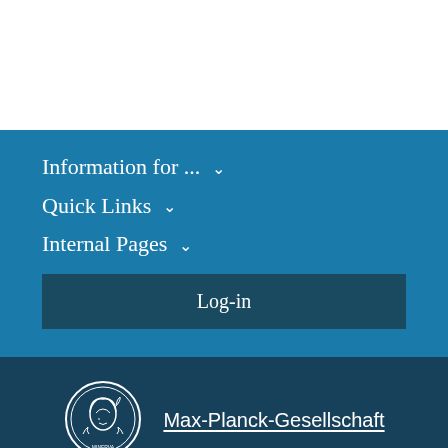Information for ...
Quick Links
Internal Pages
Log-in
[Figure (logo): Max-Planck-Gesellschaft circular coin logo with Minerva head profile]
Max-Planck-Gesellschaft
Imprint
Privacy Policy
Site Map
© 2022, Max-Planck-Gesellschaft